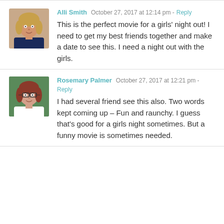Alli Smith   October 27, 2017 at 12:14 pm - Reply

This is the perfect movie for a girls' night out! I need to get my best friends together and make a date to see this. I need a night out with the girls.
Rosemary Palmer   October 27, 2017 at 12:21 pm - Reply

I had several friend see this also. Two words kept coming up – Fun and raunchy. I guess that's good for a girls night sometimes. But a funny movie is sometimes needed.